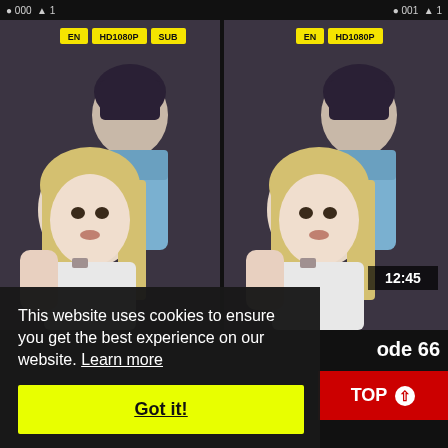Icons and status bar
[Figure (screenshot): Anime video thumbnail left: male and female animated characters, badges EN HD1080P SUB]
[Figure (screenshot): Anime video thumbnail right: same characters, badges EN HD1080P, timestamp 12:45, episode label 'ode 66']
This website uses cookies to ensure you get the best experience on our website. Learn more
Got it!
TOP ↑